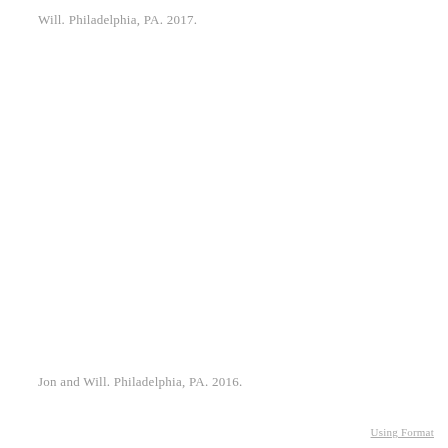Will. Philadelphia, PA. 2017.
Jon and Will. Philadelphia, PA. 2016.
Using Format